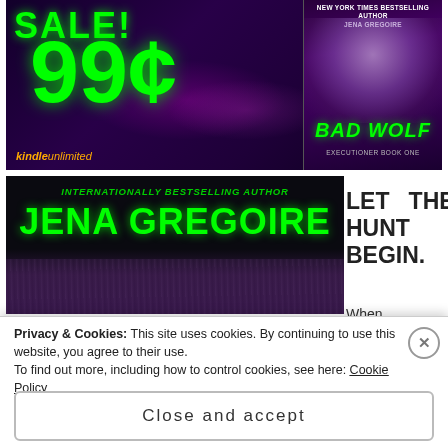[Figure (illustration): Book sale promotional banner with 'SALE! 99c' in green text on dark purple/space background, showing Bad Wolf book cover by Jena Gregoire, with Kindle Unlimited logo]
[Figure (illustration): Author banner showing 'INTERNATIONALLY BESTSELLING AUTHOR JENA GREGOIRE' in green on black background with hair visible at bottom]
LET THE HUNT BEGIN.
When
Privacy & Cookies: This site uses cookies. By continuing to use this website, you agree to their use. To find out more, including how to control cookies, see here: Cookie Policy
Close and accept